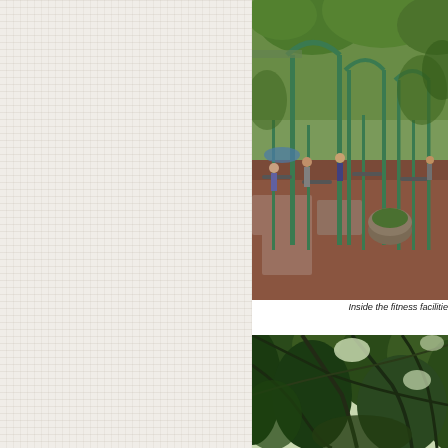[Figure (photo): Outdoor fitness facility area with green metal exercise equipment frames, pull-up bars, and exercise stations on a reddish-brown gravel/paved surface beneath large trees. People are using the equipment in a park-like setting.]
Inside the fitness facilitie
[Figure (photo): View looking up through dense tropical tree canopy with lush green foliage, branches and vines visible against a lighter sky.]